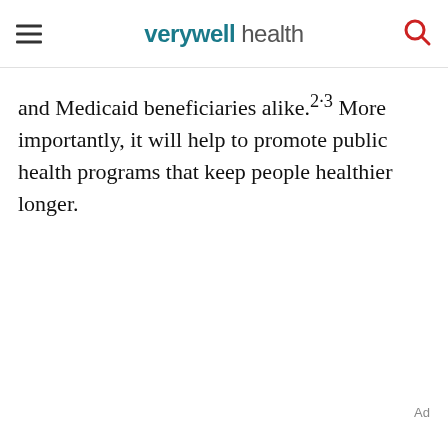verywell health
and Medicaid beneficiaries alike.²·³ More importantly, it will help to promote public health programs that keep people healthier longer.
Ad